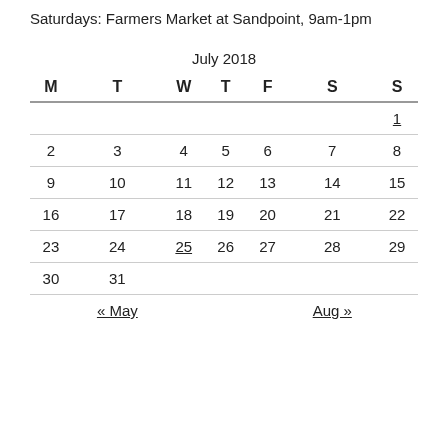Saturdays: Farmers Market at Sandpoint, 9am-1pm
| M | T | W | T | F | S | S |
| --- | --- | --- | --- | --- | --- | --- |
|  |  |  |  |  |  | 1 |
| 2 | 3 | 4 | 5 | 6 | 7 | 8 |
| 9 | 10 | 11 | 12 | 13 | 14 | 15 |
| 16 | 17 | 18 | 19 | 20 | 21 | 22 |
| 23 | 24 | 25 | 26 | 27 | 28 | 29 |
| 30 | 31 |  |  |  |  |  |